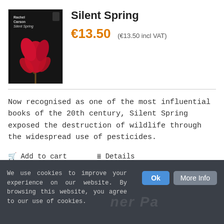[Figure (photo): Book cover of Silent Spring by Rachel Carson, dark background with a red flower]
Silent Spring
€13.50 (€13.50 incl VAT)
Now recognised as one of the most influential books of the 20th century, Silent Spring exposed the destruction of wildlife through the widespread use of pesticides.
🛒 Add to cart    ☰ Details
We use cookies to improve your experience on our website. By browsing this website, you agree to our use of cookies.